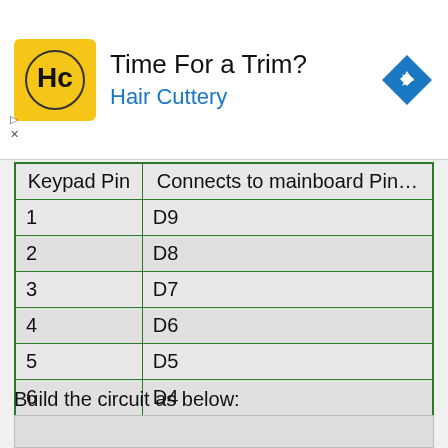[Figure (other): Hair Cuttery advertisement banner with logo and navigation diamond icon]
| Keypad Pin | Connects to mainboard Pin... |
| --- | --- |
| 1 | D9 |
| 2 | D8 |
| 3 | D7 |
| 4 | D6 |
| 5 | D5 |
| 6 | D4 |
| 7 | D3 |
| 8 | D2 |
Build the circuit as below:
[Figure (photo): Circuit board photo (partially visible)]